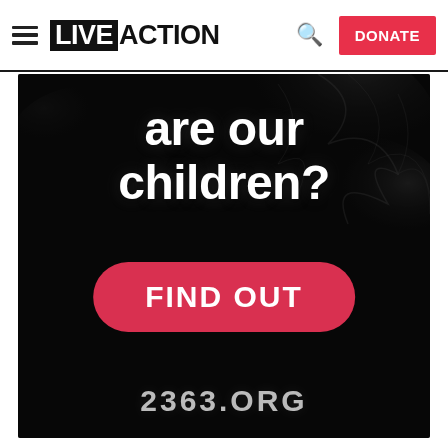LIVE ACTION — DONATE
[Figure (infographic): Dark advertisement with smoky background showing text 'are our children?' in large white bold font, a red rounded 'FIND OUT' button, and '2363.ORG' URL at the bottom]